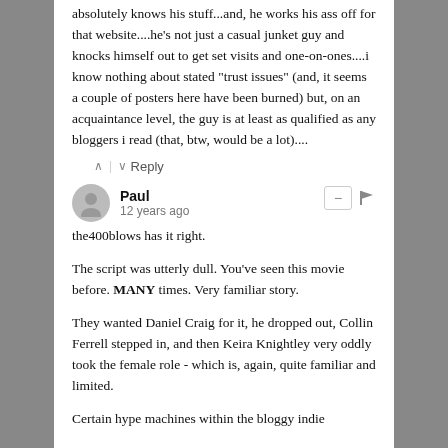absolutely knows his stuff...and, he works his ass off for that website....he's not just a casual junket guy and knocks himself out to get set visits and one-on-ones....i know nothing about stated "trust issues" (and, it seems a couple of posters here have been burned) but, on an acquaintance level, the guy is at least as qualified as any bloggers i read (that, btw, would be a lot)....
Reply
Paul
12 years ago
the400blows has it right.

The script was utterly dull. You've seen this movie before. MANY times. Very familiar story.

They wanted Daniel Craig for it, he dropped out, Collin Ferrell stepped in, and then Keira Knightley very oddly took the female role - which is, again, quite familiar and limited.

Certain hype machines within the bloggy indie